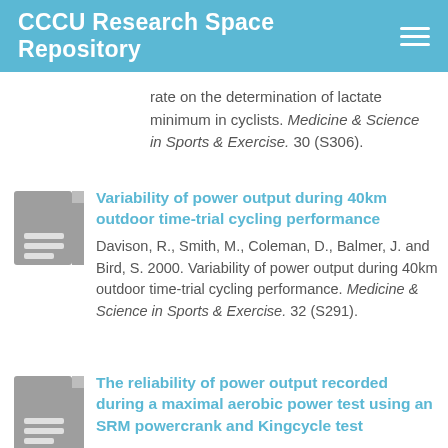CCCU Research Space Repository
rate on the determination of lactate minimum in cyclists. Medicine & Science in Sports & Exercise. 30 (S306).
Variability of power output during 40km outdoor time-trial cycling performance
Davison, R., Smith, M., Coleman, D., Balmer, J. and Bird, S. 2000. Variability of power output during 40km outdoor time-trial cycling performance. Medicine & Science in Sports & Exercise. 32 (S291).
The reliability of power output recorded during a maximal aerobic power test using an SRM powercrank and Kingcycle test